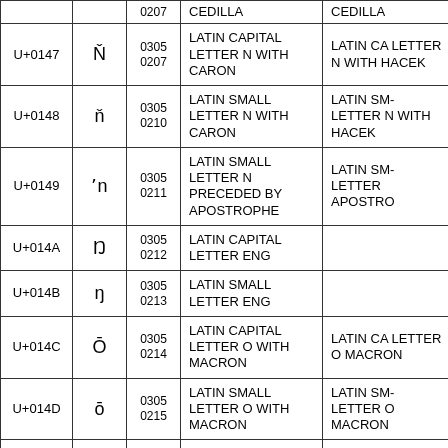| Code | Char | Oct | Unicode Name | Old Name |
| --- | --- | --- | --- | --- |
|  |  | 0207 | CEDILLA | CEDILLA |
| U+0147 | Ň | 0305
0207 | LATIN CAPITAL LETTER N WITH CARON | LATIN CAPITAL LETTER N WITH HACEK |
| U+0148 | ň | 0305
0210 | LATIN SMALL LETTER N WITH CARON | LATIN SMALL LETTER N WITH HACEK |
| U+0149 | ʼn | 0305
0211 | LATIN SMALL LETTER N PRECEDED BY APOSTROPHE | LATIN SMALL LETTER APOSTRO |
| U+014A | Ŋ | 0305
0212 | LATIN CAPITAL LETTER ENG |  |
| U+014B | ŋ | 0305
0213 | LATIN SMALL LETTER ENG |  |
| U+014C | Ō | 0305
0214 | LATIN CAPITAL LETTER O WITH MACRON | LATIN CAPITAL LETTER O WITH MACRON |
| U+014D | ō | 0305
0215 | LATIN SMALL LETTER O WITH MACRON | LATIN SMALL LETTER O WITH MACRON |
| U+014E | Ŏ | 0305
0216 | LATIN CAPITAL LETTER O WITH BREVE | LATIN CAPITAL LETTER O WITH BREVE |